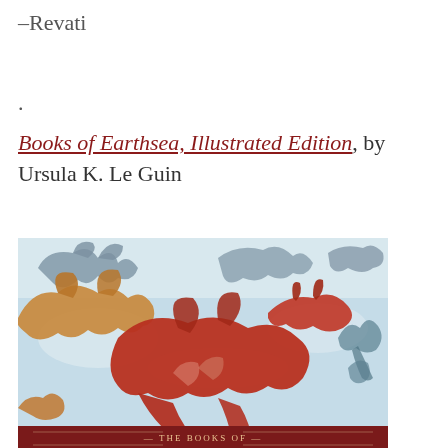–Revati
.
Books of Earthsea, Illustrated Edition, by Ursula K. Le Guin
[Figure (illustration): Book cover of 'The Books of Earthsea, Illustrated Edition' showing multiple dragons in red, orange, and blue-grey tones against a pale sky background, with a dark red banner at the bottom reading 'THE BOOKS OF']